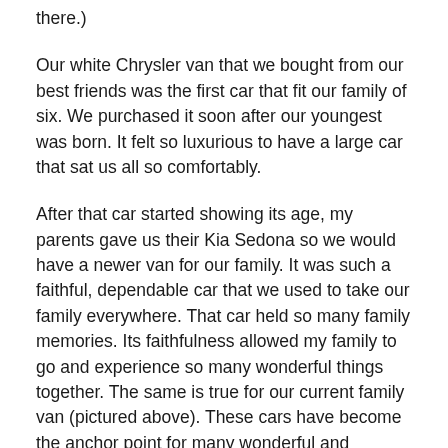there.)
Our white Chrysler van that we bought from our best friends was the first car that fit our family of six. We purchased it soon after our youngest was born. It felt so luxurious to have a large car that sat us all so comfortably.
After that car started showing its age, my parents gave us their Kia Sedona so we would have a newer van for our family. It was such a faithful, dependable car that we used to take our family everywhere. That car held so many family memories. Its faithfulness allowed my family to go and experience so many wonderful things together. The same is true for our current family van (pictured above). These cars have become the anchor point for many wonderful and cherished memories for me. When I think of these cars and the unique memories associated with